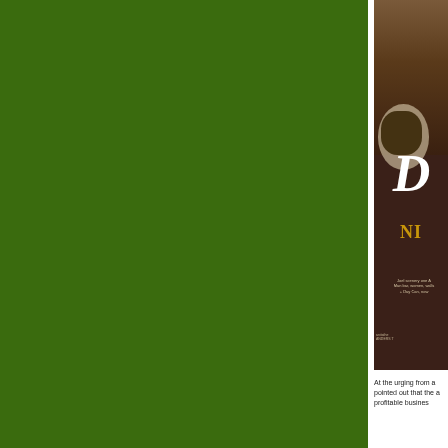[Figure (photo): Large dark green background panel occupying the left two-thirds of the page]
[Figure (photo): Movie poster partially visible on right side showing a person at a table with food, script letter D, gold text NI, and film credits on dark brown background]
At the urging from a pointed out that the a profitable busines